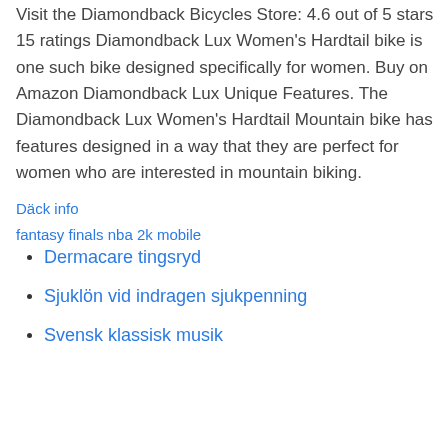Visit the Diamondback Bicycles Store: 4.6 out of 5 stars 15 ratings Diamondback Lux Women's Hardtail bike is one such bike designed specifically for women. Buy on Amazon Diamondback Lux Unique Features. The Diamondback Lux Women's Hardtail Mountain bike has features designed in a way that they are perfect for women who are interested in mountain biking.
Däck info
fantasy finals nba 2k mobile
Dermacare tingsryd
Sjuklön vid indragen sjukpenning
Svensk klassisk musik